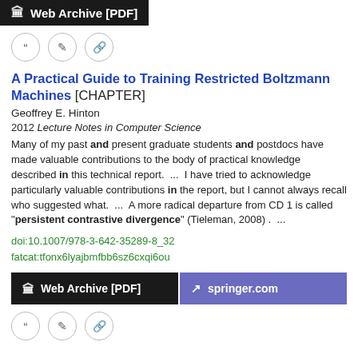Web Archive [PDF]
[Figure (other): Row of three circular icon buttons: quote, edit, link]
A Practical Guide to Training Restricted Boltzmann Machines [CHAPTER]
Geoffrey E. Hinton
2012 Lecture Notes in Computer Science
Many of my past and present graduate students and postdocs have made valuable contributions to the body of practical knowledge described in this technical report.  ...  I have tried to acknowledge particularly valuable contributions in the report, but I cannot always recall who suggested what.  ...  A more radical departure from CD 1 is called "persistent contrastive divergence" (Tieleman, 2008) .  ...
doi:10.1007/978-3-642-35289-8_32
fatcat:tfonx6lyajbmfbb6sz6cxqi6ou
[Figure (other): Two download buttons: Web Archive [PDF] (black) and springer.com (purple)]
[Figure (other): Row of three circular icon buttons: quote, edit, link]